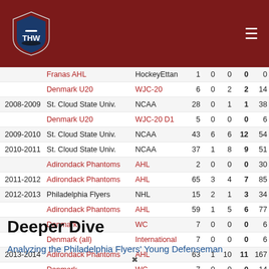THW — The Hockey Writers
| Year | Team | League | GP | G | A | Pts | PIM |
| --- | --- | --- | --- | --- | --- | --- | --- |
|  | Franas AHL | HockeyEttan | 1 | 0 | 0 | 0 | 0 |
|  | Denmark U20 | WJC-20 | 6 | 0 | 2 | 2 | 14 |
| 2008-2009 | St. Cloud State Univ. | NCAA | 28 | 0 | 1 | 1 | 38 |
|  | Denmark U20 | WJC-20 D1 | 5 | 0 | 0 | 0 | 6 |
| 2009-2010 | St. Cloud State Univ. | NCAA | 43 | 6 | 6 | 12 | 54 |
| 2010-2011 | St. Cloud State Univ. | NCAA | 37 | 1 | 8 | 9 | 51 |
|  | Adirondack Phantoms | AHL | 2 | 0 | 0 | 0 | 30 |
| 2011-2012 | Adirondack Phantoms | AHL | 65 | 3 | 4 | 7 | 85 |
| 2012-2013 | Philadelphia Flyers | NHL | 15 | 2 | 1 | 3 | 34 |
|  | Adirondack Phantoms | AHL | 59 | 1 | 5 | 6 | 77 |
|  | Denmark | WC | 7 | 0 | 0 | 0 | 6 |
|  | Denmark (all) | International | 7 | 0 | 0 | 0 | 6 |
| 2013-2014 | Adirondack Phantoms | AHL | 63 | 1 | 10 | 11 | 167 |
|  | Denmark | WC | 7 | 0 | 0 | 0 | 14 |
|  | Denmark (all) | International | 7 | 0 | 0 | 0 | 14 |
| 2014-2015 | Philadelphia Flyers | NHL | 1 | 0 | 0 | 0 | 10 |
|  | Lehigh Valley Phantoms | AHL | 75 | 4 | 6 | 10 | 152 |
Deeper Dive
Analyzing the Philadelphia Flyers' Young Defenseman